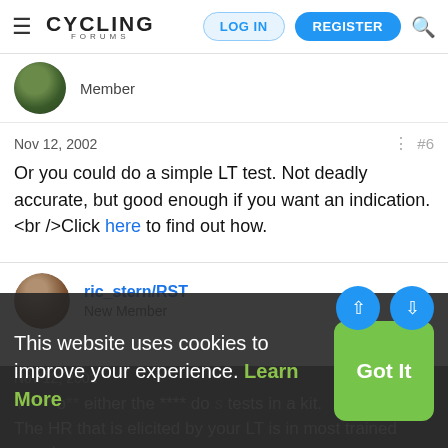CYCLING FORUMS — LOG IN | REGISTER
Member
Nov 12, 2002  #6
Or you could do a simple LT test. Not deadly accurate, but good enough if you want an indication.<br />Click here to find out how.
ric_stern/RST
New Member
Nov 12, 2002  #7
This website uses cookies to improve your experience. Learn More
Got It
The HR that is elicited by your LT is in most trained people